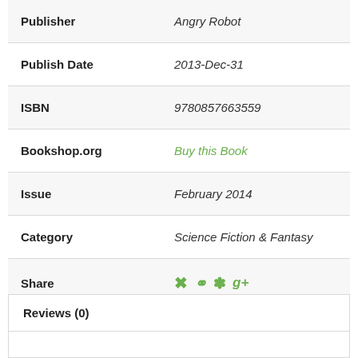| Field | Value |
| --- | --- |
| Publisher | Angry Robot |
| Publish Date | 2013-Dec-31 |
| ISBN | 9780857663559 |
| Bookshop.org | Buy this Book |
| Issue | February 2014 |
| Category | Science Fiction & Fantasy |
| Share | social icons |
Reviews (0)